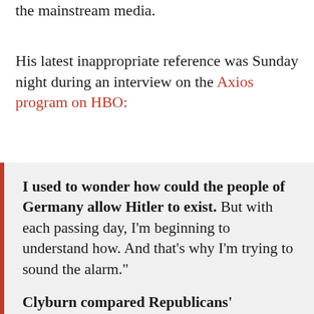the mainstream media.
His latest inappropriate reference was Sunday night during an interview on the Axios program on HBO:
I used to wonder how could the people of Germany allow Hitler to exist. But with each passing day, I'm beginning to understand how. And that's why I'm trying to sound the alarm." Clyburn compared Republicans' coalescing around Trump to Nazis supporting